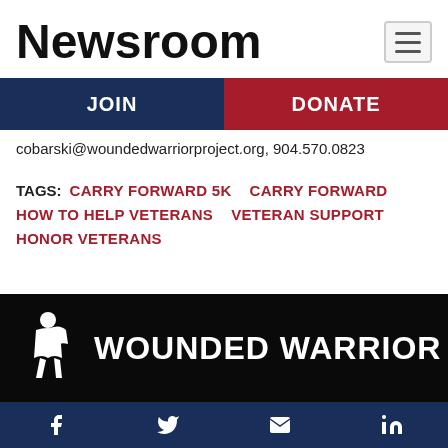Newsroom
JOIN | DONATE
cobarski@woundedwarriorproject.org, 904.570.0823
TAGS: CARRY FORWARD 5K  CARRY FORWARD  HOW TO HELP VETERANS  VETERAN SUPPORT  HONOR VETERANS
[Figure (logo): Wounded Warrior Project logo with soldier silhouette and text WOUNDED WARRIOR on black background]
Facebook Twitter Email LinkedIn social icons bar